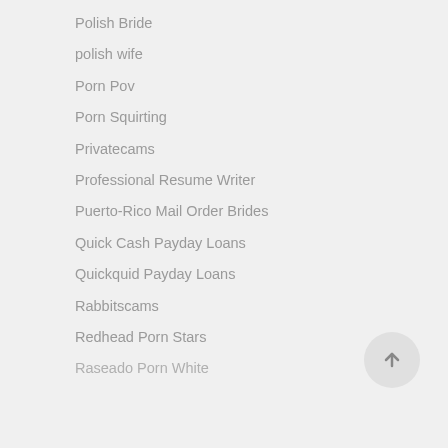Polish Bride
polish wife
Porn Pov
Porn Squirting
Privatecams
Professional Resume Writer
Puerto-Rico Mail Order Brides
Quick Cash Payday Loans
Quickquid Payday Loans
Rabbitscams
Redhead Porn Stars
Raseado Porn White